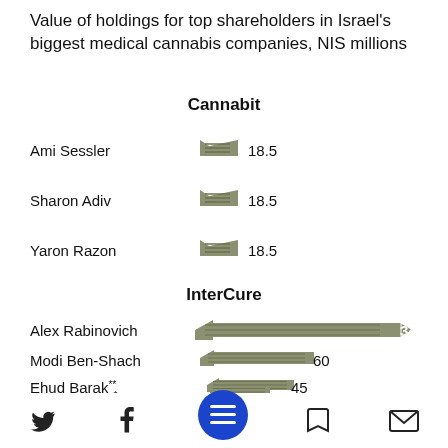Value of holdings for top shareholders in Israel's biggest medical cannabis companies, NIS millions
[Figure (bar-chart): Cannabit]
[Figure (bar-chart): InterCure]
Twitter Facebook Menu Bookmark Email